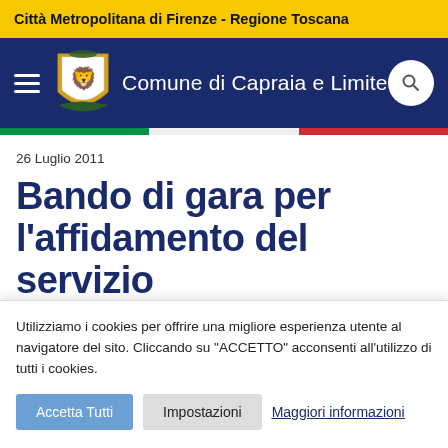Città Metropolitana di Firenze - Regione Toscana
[Figure (logo): Comune di Capraia e Limite municipal website header with crest logo, hamburger menu, site title and search button on navy background]
26 Luglio 2011
Bando di gara per l'affidamento del servizio
Utilizziamo i cookies per offrire una migliore esperienza utente al navigatore del sito. Cliccando su "ACCETTO" acconsenti all'utilizzo di tutti i cookies.